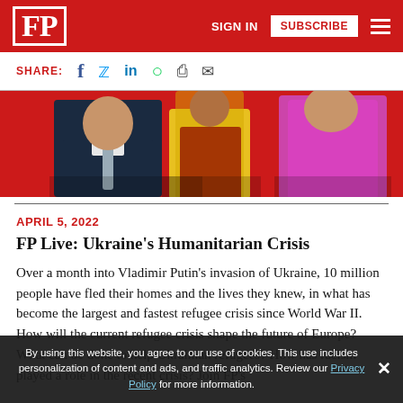FP — SIGN IN  SUBSCRIBE
SHARE: (facebook, twitter, linkedin, whatsapp, print, email icons)
[Figure (photo): Partial image showing three people: a man in a dark suit with a grey tie on the left, a person with a colorful yellow/green/red garment in the center, and a woman in a bright pink/magenta outfit on the right, set against a red background.]
APRIL 5, 2022
FP Live: Ukraine's Humanitarian Crisis
Over a month into Vladimir Putin's invasion of Ukraine, 10 million people have fled their homes and the lives they knew, in what has become the largest and fastest refugee crisis since World War II. How will the current refugee crisis shape the future of Europe? What can be done to help Ukrainian refugees? How has racism played a role in the recent crisis? Join FP's
By using this website, you agree to our use of cookies. This use includes personalization of content and ads, and traffic analytics. Review our Privacy Policy for more information.